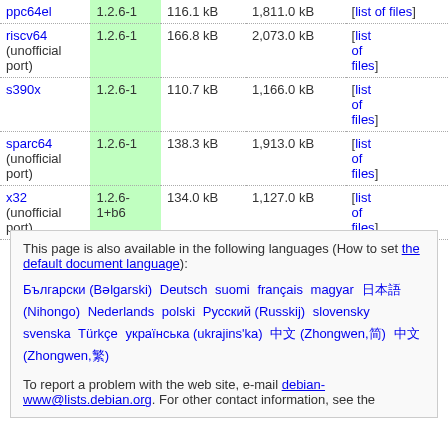| Architecture | Version | Package size | Installed size | Files |
| --- | --- | --- | --- | --- |
| ppc64el | 1.2.6-1 | 116.1 kB | 1,811.0 kB | [list of files] |
| riscv64 (unofficial port) | 1.2.6-1 | 166.8 kB | 2,073.0 kB | [list of files] |
| s390x | 1.2.6-1 | 110.7 kB | 1,166.0 kB | [list of files] |
| sparc64 (unofficial port) | 1.2.6-1 | 138.3 kB | 1,913.0 kB | [list of files] |
| x32 (unofficial port) | 1.2.6-1+b6 | 134.0 kB | 1,127.0 kB | [list of files] |
This page is also available in the following languages (How to set the default document language):
Български (Bəlgarski) Deutsch suomi français magyar 日本語 (Nihongo) Nederlands polski Русский (Russkij) slovensky svenska Türkçe українська (ukrajins'ka) 中文 (Zhongwen,简) 中文 (Zhongwen,繁)
To report a problem with the web site, e-mail debian-www@lists.debian.org. For other contact information, see the